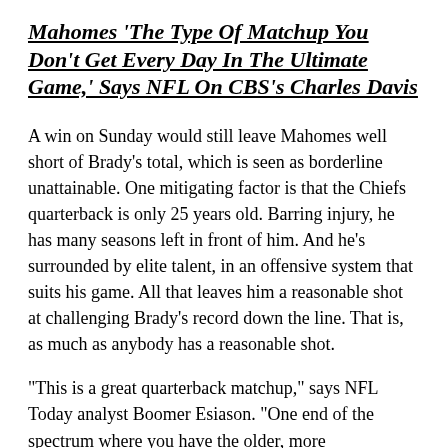Mahomes 'The Type Of Matchup You Don't Get Every Day In The Ultimate Game,' Says NFL On CBS's Charles Davis
A win on Sunday would still leave Mahomes well short of Brady's total, which is seen as borderline unattainable. One mitigating factor is that the Chiefs quarterback is only 25 years old. Barring injury, he has many seasons left in front of him. And he's surrounded by elite talent, in an offensive system that suits his game. All that leaves him a reasonable shot at challenging Brady's record down the line. That is, as much as anybody has a reasonable shot.
"This is a great quarterback matchup," says NFL Today analyst Boomer Esiason. "One end of the spectrum where you have the older, more